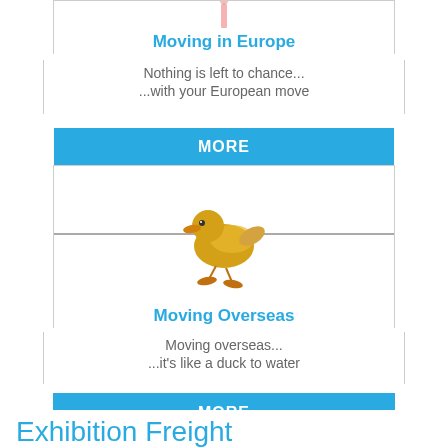[Figure (illustration): Partial top of a card showing a pink flamingo leg/foot clipped at top]
Moving in Europe
Nothing is left to chance...
...with your European move
MORE
[Figure (illustration): A yellow duckling sitting on a barbed wire fence]
Moving Overseas
Moving overseas...
...it's like a duck to water
MORE
Exhibition Freight